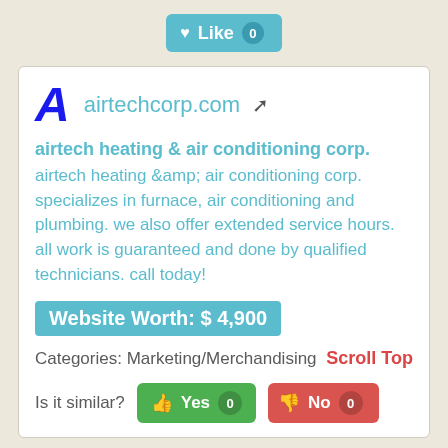[Figure (other): Like button with heart icon and count 0]
[Figure (logo): Stylized italic letter A logo in blue]
airtechcorp.com
airtech heating & air conditioning corp.
airtech heating &amp; air conditioning corp. specializes in furnace, air conditioning and plumbing. we also offer extended service hours. all work is guaranteed and done by qualified technicians. call today!
Website Worth: $ 4,900
Categories: Marketing/Merchandising, B
Scroll Top
Is it similar?
[Figure (other): Yes button with thumbs up and count 0]
[Figure (other): No button with thumbs down and count 0]